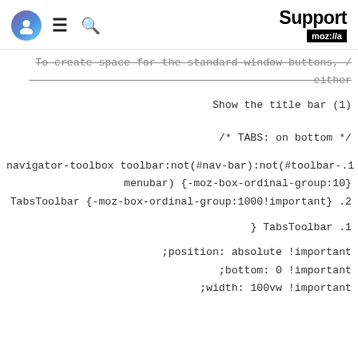Support mozilla
To create space for the standard window buttons, / either
Show the title bar (1)
/* TABS: on bottom */
navigator-toolbox toolbar:not(#nav-bar):not(#toolbar-.1 menubar) {-moz-box-ordinal-group:10} TabsToolbar {-moz-box-ordinal-group:1000!important} .2
} TabsToolbar .1
;position: absolute !important
;bottom: 0 !important
;width: 100vw !important